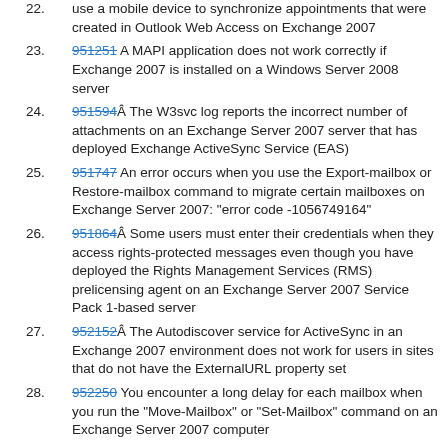use a mobile device to synchronize appointments that were created in Outlook Web Access on Exchange 2007
951251 A MAPI application does not work correctly if Exchange 2007 is installed on a Windows Server 2008 server
951594 The W3svc log reports the incorrect number of attachments on an Exchange Server 2007 server that has deployed Exchange ActiveSync Service (EAS)
951747 An error occurs when you use the Export-mailbox or Restore-mailbox command to migrate certain mailboxes on Exchange Server 2007: “error code -1056749164”
951864 Some users must enter their credentials when they access rights-protected messages even though you have deployed the Rights Management Services (RMS) prelicensing agent on an Exchange Server 2007 Service Pack 1-based server
952152 The Autodiscover service for ActiveSync in an Exchange 2007 environment does not work for users in sites that do not have the ExternalURL property set
952250 You encounter a long delay for each mailbox when you run the “Move-Mailbox” or “Set-Mailbox” command on an Exchange Server 2007 computer
952682 Log file drives on the SCR target may eventually fill up and cause replication failure in Exchange Server 2007 Service Pack 1